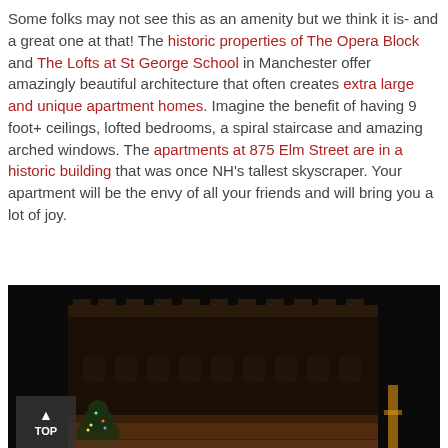Some folks may not see this as an amenity but we think it is- and a great one at that!  The historic properties of The Opera Block and The Lofts at St George School in Manchester offer amazingly beautiful architecture that often creates extra large and unique apartment homes.  Imagine the benefit of having 9 foot+ ceilings, lofted bedrooms, a spiral staircase and amazing arched windows.  The apartments at 875 Elm Street are in a historic building that was once NH's tallest skyscraper.  Your apartment will be the envy of all your friends and will bring you a lot of joy.
[Figure (photo): Night photo of a historic brick building exterior, illuminated at base, against a dark sky. A lit Christmas tree or lights are visible at lower left.]